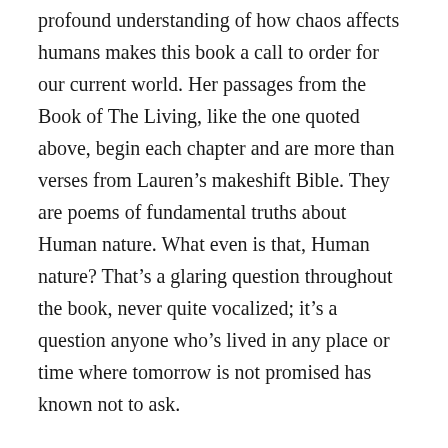profound understanding of how chaos affects humans makes this book a call to order for our current world. Her passages from the Book of The Living, like the one quoted above, begin each chapter and are more than verses from Lauren's makeshift Bible. They are poems of fundamental truths about Human nature. What even is that, Human nature? That's a glaring question throughout the book, never quite vocalized; it's a question anyone who's lived in any place or time where tomorrow is not promised has known not to ask.
When I first read “God is Change”, I took a couple of hours to think about it. What doesn’t change? What remains constant? Life is Change. Everything is temporary, always. But we shape change, as much as